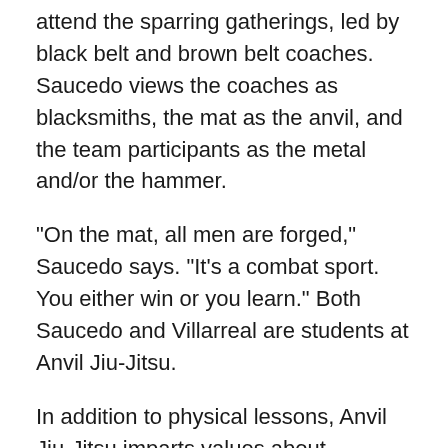attend the sparring gatherings, led by black belt and brown belt coaches. Saucedo views the coaches as blacksmiths, the mat as the anvil, and the team participants as the metal and/or the hammer.
“On the mat, all men are forged,” Saucedo says. “It’s a combat sport. You either win or you learn.” Both Saucedo and Villarreal are students at Anvil Jiu-Jitsu.
In addition to physical lessons, Anvil Jiu-Jitsu imparts values about commitment, camaraderie, and character. The final 10 minutes of the session, Saucedo shares words of affirmation and encouragement, relating life to jiu-jitsu.
“The purpose is to build relationships,” Saucedo